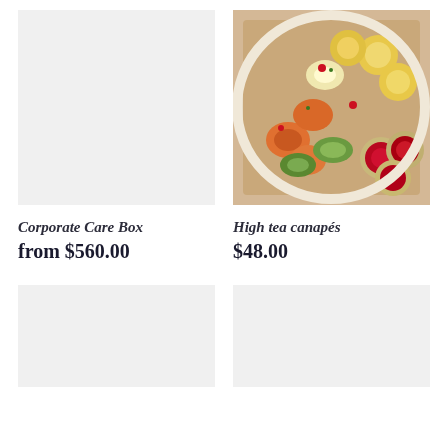[Figure (photo): Empty light grey placeholder image for Corporate Care Box product]
[Figure (photo): Photo of high tea canapés arranged in a round white box — assorted bite-sized pastries with smoked salmon, cucumber, cream, and berry tartlets]
Corporate Care Box
from $560.00
High tea canapés
$48.00
[Figure (photo): Empty light grey placeholder image (bottom left)]
[Figure (photo): Empty light grey placeholder image (bottom right)]